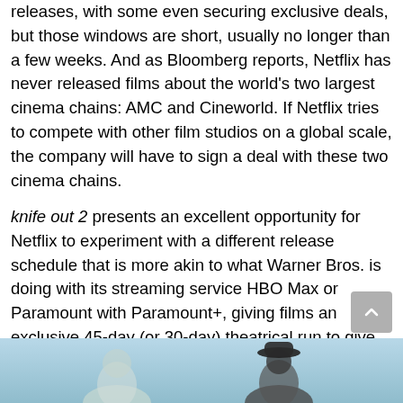releases, with some even securing exclusive deals, but those windows are short, usually no longer than a few weeks. And as Bloomberg reports, Netflix has never released films about the world's two largest cinema chains: AMC and Cineworld. If Netflix tries to compete with other film studios on a global scale, the company will have to sign a deal with these two cinema chains.
knife out 2 presents an excellent opportunity for Netflix to experiment with a different release schedule that is more akin to what Warner Bros. is doing with its streaming service HBO Max or Paramount with Paramount+, giving films an exclusive 45-day (or 30-day) theatrical run to give up to 45 in the case of Paramount) before being sent to each company's respective streaming platform.
[Figure (photo): Partial photo of people, appearing to be a movie still or press image, visible at the bottom of the page.]